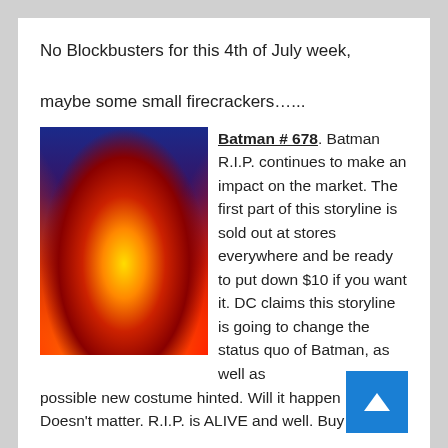No Blockbusters for this 4th of July week,

maybe some small firecrackers…...
[Figure (illustration): Comic book cover art for Batman #678, showing Batman in a vivid abstract explosion of red, orange, yellow rays and blue/purple background]
Batman # 678. Batman R.I.P. continues to make an impact on the market. The first part of this storyline is sold out at stores everywhere and be ready to put down $10 if you want it. DC claims this storyline is going to change the status quo of Batman, as well as possible new costume hinted. Will it happen in issue? Doesn't matter. R.I.P. is ALIVE and well. Buy